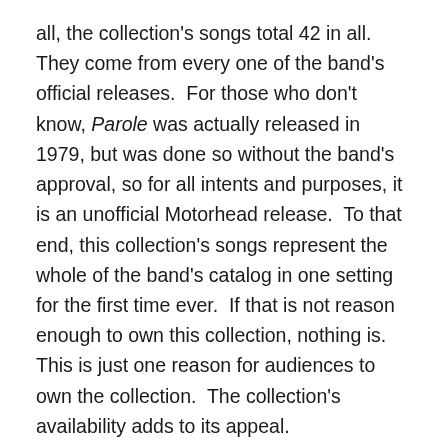all, the collection's songs total 42 in all.  They come from every one of the band's official releases.  For those who don't know, Parole was actually released in 1979, but was done so without the band's approval, so for all intents and purposes, it is an unofficial Motorhead release.  To that end, this collection's songs represent the whole of the band's catalog in one setting for the first time ever.  If that is not reason enough to own this collection, nothing is.  This is just one reason for audiences to own the collection.  The collection's availability adds to its appeal.
The 42 total songs that make up the collection's body are presented on separate 2 CD and 4 LP platforms.  It is also available as a separate 2 LP/2 CD set, digital download, and through streaming.  In other words, the collection is available through a wide range of platforms.  Whether one prefers CD, LP, or digital, the collection is available to fans...